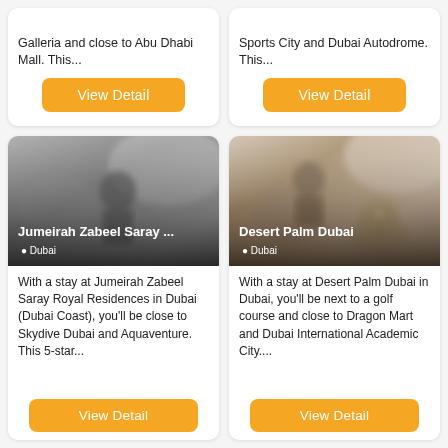Galleria and close to Abu Dhabi Mall. This...
View Detail
Sports City and Dubai Autodrome. This...
View Detail
[Figure (photo): Hotel card with blurred interior photo showing a person at a desk, overlaid with hotel name 'Jumeirah Zabeel Saray ...' and location 'Dubai']
With a stay at Jumeirah Zabeel Saray Royal Residences in Dubai (Dubai Coast), you'll be close to Skydive Dubai and Aquaventure. This 5-star...
View Detail
[Figure (photo): Hotel card with blurred interior photo showing a hotel reception bell and a person in the background, overlaid with hotel name 'Desert Palm Dubai' and location 'Dubai']
With a stay at Desert Palm Dubai in Dubai, you'll be next to a golf course and close to Dragon Mart and Dubai International Academic City....
View Detail